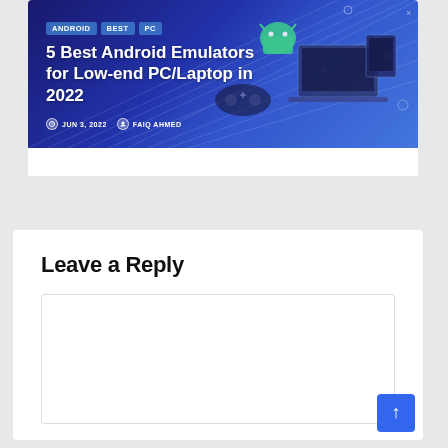[Figure (screenshot): Blog post card with hero image showing Android emulator article. Tags: ANDROID, BEST, PC. Title: 5 Best Android Emulators for Low-end PC/Laptop in 2022. Date: JUN 3, 2022. Author: FAIQ AHMED. Blue gradient background with Android robot and laptop graphics.]
Leave a Reply